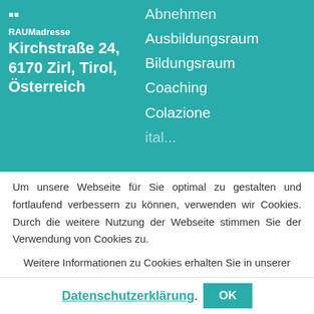RAUMadresse Kirchstraße 24, 6170 Zirl, Tirol, Österreich
Abnehmen
Ausbildungsraum
Bildungsraum
Coaching
Colazione
Um unsere Webseite für Sie optimal zu gestalten und fortlaufend verbessern zu können, verwenden wir Cookies. Durch die weitere Nutzung der Webseite stimmen Sie der Verwendung von Cookies zu.
Weitere Informationen zu Cookies erhalten Sie in unserer Datenschutzerklärung. OK